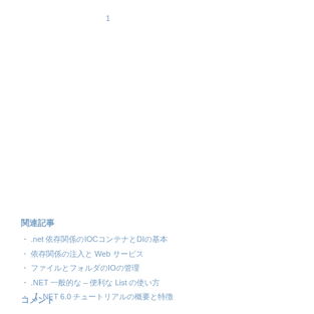1
関連記事
・ .net 依存関係のIOCコンテナとDIの基本
・ 依存関係の注入と Web サービス
・ ファイルとフォルダのIOの管理
・ .NET 一般的な – 便利な List の使い方
・ 【 .NET 6.0 チュートリアルの概要と特徴
コメント